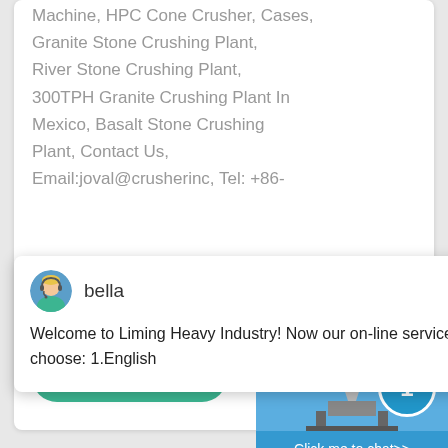Machine, HPC Cone Crusher, Cases, Granite Stone Crushing Plant, River Stone Crushing Plant, 300TPH Granite Crushing Plant In Mexico, Basalt Stone Crushing Plant, Contact Us, Email:joval@crusherinc, Tel: +86-
[Figure (screenshot): Chat popup with avatar of 'bella', message: Welcome to Liming Heavy Industry! Now our on-line service is chatting with you! please choose: 1.English]
More
[Figure (photo): HPC Cone Crusher machine photo on blue background with notification badge showing '1' and 'Click me to chat>>' button]
[Figure (photo): Excavator working in forest/construction site]
SBM HPC Hydraulic C
Enquiry
cvwcitml@gmails